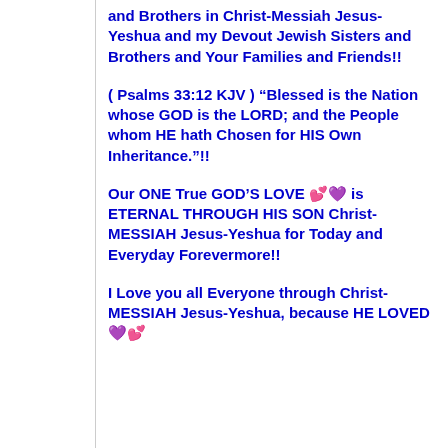and Brothers in Christ-Messiah Jesus-Yeshua and my Devout Jewish Sisters and Brothers and Your Families and Friends!!
( Psalms 33:12 KJV ) “Blessed is the Nation whose GOD is the LORD; and the People whom HE hath Chosen for HIS Own Inheritance.”!!
Our ONE True GOD’S LOVE 💕💜 is ETERNAL THROUGH HIS SON Christ-MESSIAH Jesus-Yeshua for Today and Everyday Forevermore!!
I Love you all Everyone through Christ-MESSIAH Jesus-Yeshua, because HE LOVED 💜💕